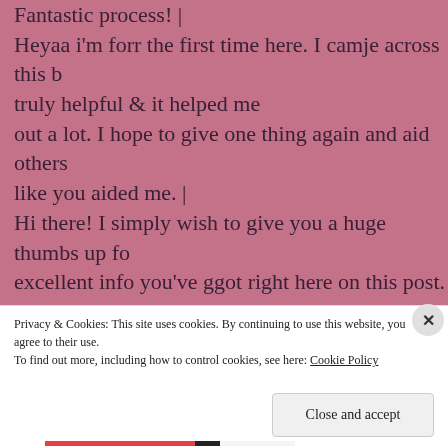Fantastic process! | Heyaa i'm forr the first time here. I camje across this b truly helpful & it helped me out a lot. I hope to give one thing again and aid others like you aided me. | Hi there! I simply wish to give you a huge thumbs up fo excellent info you've ggot right here on this post. I will your weeb site for more soon. | I always used to read paragrapoh iin news papers but n internet thus from now I am using nett for articles, thanks to web. | Your metyhod oof explaining the whole thing in this pa pleasant, all be caqpable of simply know it, Thanks
Privacy & Cookies: This site uses cookies. By continuing to use this website, you agree to their use.
To find out more, including how to control cookies, see here: Cookie Policy
Close and accept